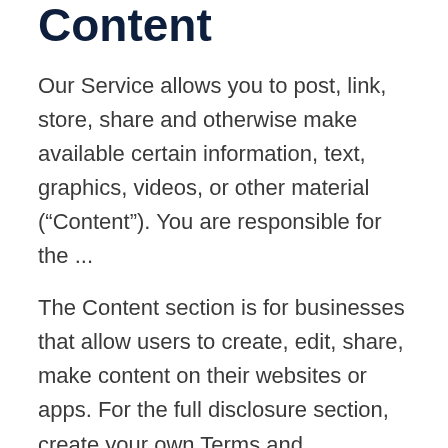Content
Our Service allows you to post, link, store, share and otherwise make available certain information, text, graphics, videos, or other material (“Content”). You are responsible for the ...
The Content section is for businesses that allow users to create, edit, share, make content on their websites or apps. For the full disclosure section, create your own Terms and Conditions.
Links To Other Websites
Our Service may contain links to third-party web sites or services that are not owned or